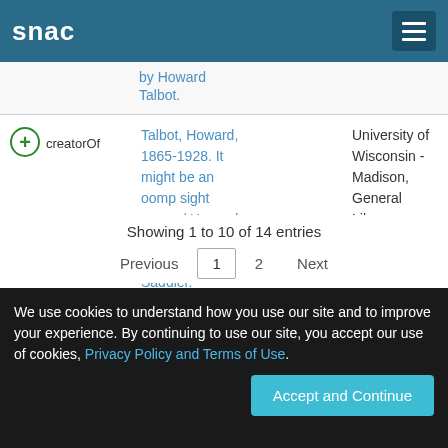snac
by Howard Talbot.
creatorOf
Talbot, Howard, 1865-1928. It might be an oomp sight worse / Howard Talbot ; scored by Frank Saddler.
University of Wisconsin - Madison, General Library System
Showing 1 to 10 of 14 entries
Previous 1 2 Next
We use cookies to understand how you use our site and to improve your experience. By continuing to use our site, you accept our use of cookies, Privacy Policy and Terms of Use.